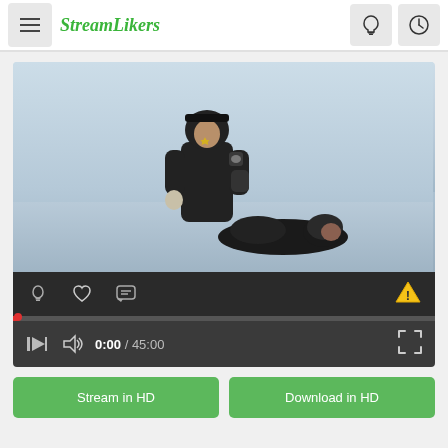StreamLikers
[Figure (screenshot): Video player showing a police officer in a winter coat standing over a person lying on a snowy landscape. The player has action icons (lightbulb, heart, comment), a red progress bar, play/volume controls, time display 0:00 / 45:00, and a fullscreen button.]
Stream in HD
Download in HD